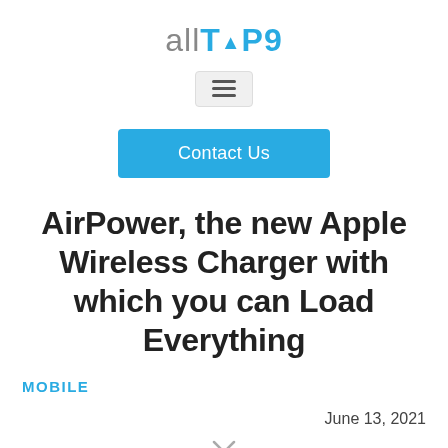allTop9
[Figure (other): Hamburger menu button icon (three horizontal lines)]
Contact Us
AirPower, the new Apple Wireless Charger with which you can Load Everything
MOBILE
June 13, 2021